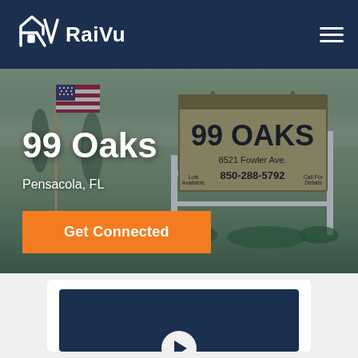[Figure (logo): RaiVu logo with stylized RV monogram and house icon in white on dark navy background, with hamburger menu icon on the right]
[Figure (photo): Outdoor photo of 99 Oaks property in Pensacola FL, showing an American flag, trees, and a real estate sign reading '99 OAKS, 8521 Fowler Ave., 850-288-5792']
99 Oaks
Pensacola, FL
Get Connected
[Figure (screenshot): White card section with dark navy video thumbnail area and a circular play button at the bottom center]